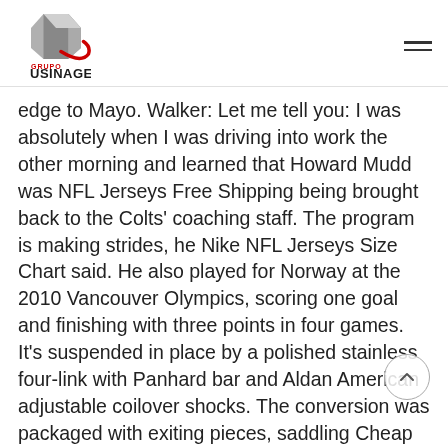Grupo Usinage logo and navigation
edge to Mayo. Walker: Let me tell you: I was absolutely when I was driving into work the other morning and learned that Howard Mudd was NFL Jerseys Free Shipping being brought back to the Colts' coaching staff. The program is making strides, he Nike NFL Jerseys Size Chart said. He also played for Norway at the 2010 Vancouver Olympics, scoring one goal and finishing with three points in four games. It's suspended in place by a polished stainless four-link with Panhard bar and Aldan American adjustable coilover shocks. The conversion was packaged with exiting pieces, saddling Cheap NHL Jerseys the L72 with clunky 396 exhaust manifolds and the congested transverse-muffler exhaust. You have to stop the